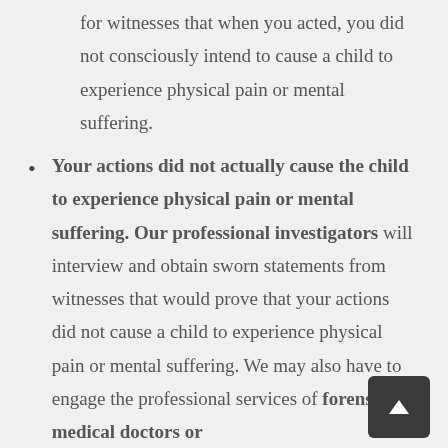for witnesses that when you acted, you did not consciously intend to cause a child to experience physical pain or mental suffering.
Your actions did not actually cause the child to experience physical pain or mental suffering. Our professional investigators will interview and obtain sworn statements from witnesses that would prove that your actions did not cause a child to experience physical pain or mental suffering. We may also have to engage the professional services of forensic medical doctors or